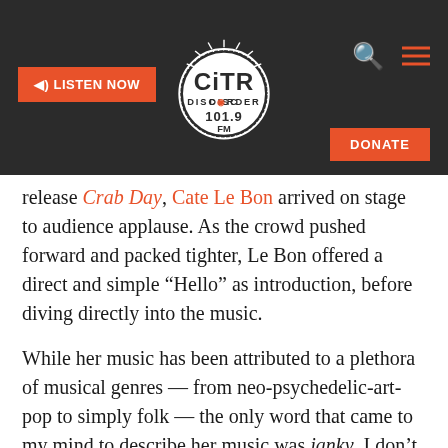CiTR Discorder 101.9 FM — LISTEN NOW | DONATE
release Crab Day, Cate Le Bon arrived on stage to audience applause. As the crowd pushed forward and packed tighter, Le Bon offered a direct and simple “Hello” as introduction, before diving directly into the music.
While her music has been attributed to a plethora of musical genres — from neo-psychedelic-art-pop to simply folk — the only word that came to my mind to describe her music was janky. I don’t know if this is a real word, but in my mind, it captures everything there is to love about Cate Le Bon’s